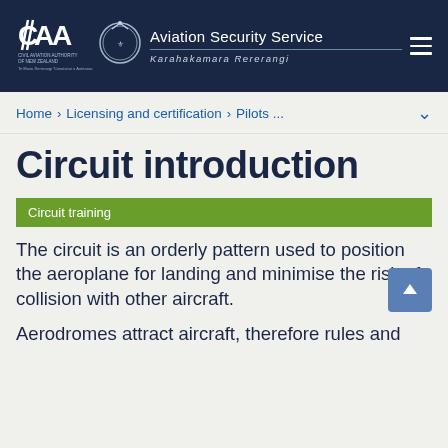CAA Civil Aviation Authority of New Zealand | Aviation Security Service Karahakamara Rererangi
Home > Licensing and certification > Pilots ...
Circuit introduction
Circuit training
The circuit is an orderly pattern used to position the aeroplane for landing and minimise the risk of collision with other aircraft.
Aerodromes attract aircraft, therefore rules and